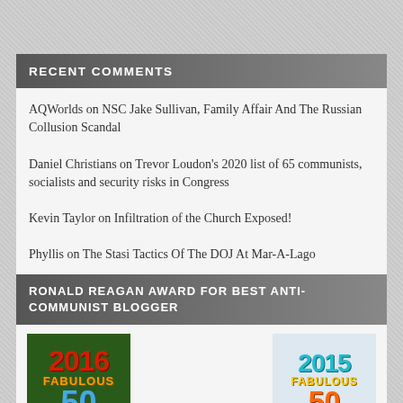RECENT COMMENTS
AQWorlds on NSC Jake Sullivan, Family Affair And The Russian Collusion Scandal
Daniel Christians on Trevor Loudon's 2020 list of 65 communists, socialists and security risks in Congress
Kevin Taylor on Infiltration of the Church Exposed!
Phyllis on The Stasi Tactics Of The DOJ At Mar-A-Lago
RONALD REAGAN AWARD FOR BEST ANTI-COMMUNIST BLOGGER
[Figure (illustration): 2016 Fabulous 50 Blog Award badge with green background, red 2016 text, orange FABULOUS text, blue 50, red BLOG AWARD text]
[Figure (illustration): 2015 Fabulous 50 Blog Award badge with light background, teal 2015 text, yellow FABULOUS text, orange 50, BLOG AWARD text]